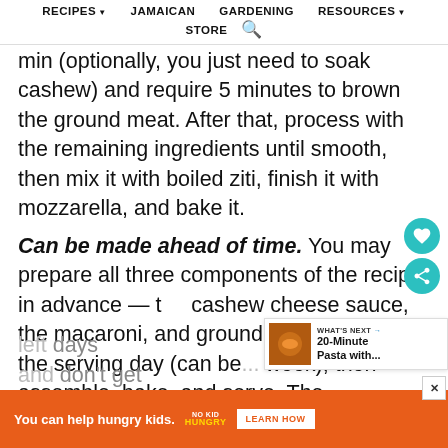RECIPES▼  JAMAICAN  GARDENING  RESOURCES▼  STORE  🔍
min (optionally, you just need to soak cashew) and require 5 minutes to brown the ground meat. After that, process with the remaining ingredients until smooth, then mix it with boiled ziti, finish it with mozzarella, and bake it.
Can be made ahead of time. You may prepare all three components of the recipe in advance — the cashew cheese sauce, the macaroni, and ground meat. Store for the serving day (can be... week), then assemble, bake, and serve. The left... days and... don't get
[Figure (other): WHAT'S NEXT → 20-Minute Pasta with... promotional widget with food image]
[Figure (other): Advertisement banner: You can help hungry kids. No Kid Hungry. LEARN HOW]